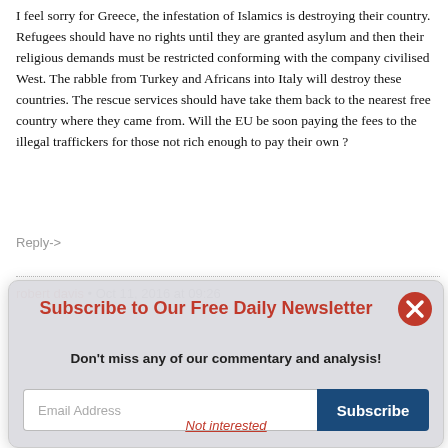I feel sorry for Greece, the infestation of Islamics is destroying their country. Refugees should have no rights until they are granted asylum and then their religious demands must be restricted conforming with the company civilised West. The rabble from Turkey and Africans into Italy will destroy these countries. The rescue services should have take them back to the nearest free country where they came from. Will the EU be soon paying the fees to the illegal traffickers for those not rich enough to pay their own ?
Reply->
robert davis • Oct 11, 2016 at 09:26
Subscribe to Our Free Daily Newsletter
Don't miss any of our commentary and analysis!
Email Address
Subscribe
Not interested